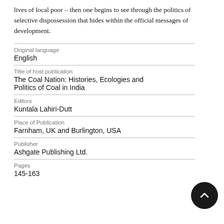lives of local poor – then one begins to see through the politics of selective dispossession that hides within the official messages of development.
| Original language | English |
| Title of host publication | The Coal Nation: Histories, Ecologies and Politics of Coal in India |
| Editors | Kuntala Lahiri-Dutt |
| Place of Publication | Farnham, UK and Burlington, USA |
| Publisher | Ashgate Publishing Ltd. |
| Pages | 145-163 |